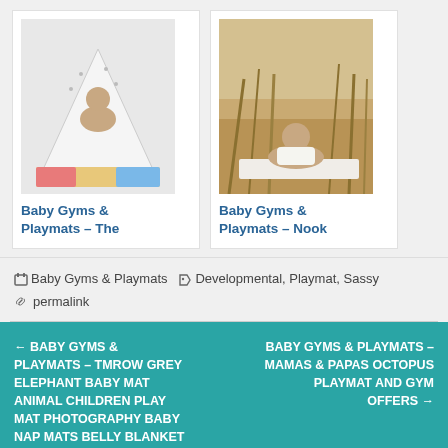[Figure (photo): Baby crawling under a white patterned tent/canopy on a colorful playmat]
Baby Gyms & Playmats – The
[Figure (photo): Toddler crawling on a blanket outdoors in a golden grass field]
Baby Gyms & Playmats – Nook
Baby Gyms & Playmats   Developmental, Playmat, Sassy   permalink
← BABY GYMS & PLAYMATS – TMROW GREY ELEPHANT BABY MAT ANIMAL CHILDREN PLAY MAT PHOTOGRAPHY BABY NAP MATS BELLY BLANKET
BABY GYMS & PLAYMATS – MAMAS & PAPAS OCTOPUS PLAYMAT AND GYM OFFERS →